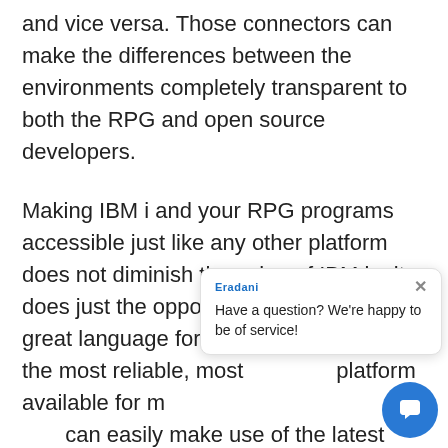source to IBM standards (structured data, parameters) and vice versa. Those connectors can make the differences between the environments completely transparent to both the RPG and open source developers.
Making IBM i and your RPG programs accessible just like any other platform does not diminish the value of IBM i – it does just the opposite. RPG is still a great language for core business; the most reliable, most platform available for mission-critical can easily make use of the latest technology, build the coolest user interfaces and maintain your applications for the long term, why would you consider using anything else?
[Figure (screenshot): Eradani chat popup widget with header 'Eradani', close button X, and message 'Have a question? We're happy to be of service!' with a blue circular chat button in the bottom right corner]